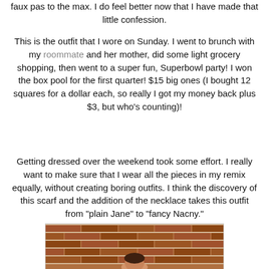faux pas to the max. I do feel better now that I have made that little confession.
This is the outfit that I wore on Sunday. I went to brunch with my roommate and her mother, did some light grocery shopping, then went to a super fun, Superbowl party! I won the box pool for the first quarter! $15 big ones (I bought 12 squares for a dollar each, so really I got my money back plus $3, but who's counting)!
Getting dressed over the weekend took some effort. I really want to make sure that I wear all the pieces in my remix equally, without creating boring outfits. I think the discovery of this scarf and the addition of the necklace takes this outfit from "plain Jane" to "fancy Nacny."
[Figure (photo): Photo of a person standing in front of a red brick wall]